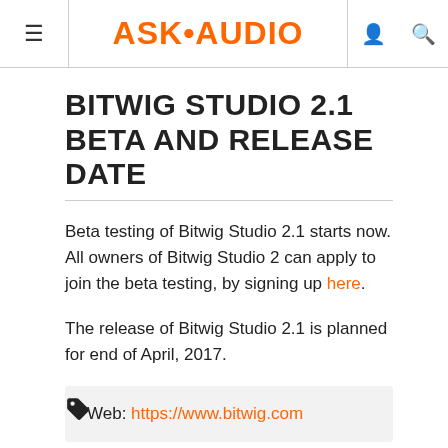ASK•AUDIO
BITWIG STUDIO 2.1 BETA AND RELEASE DATE
Beta testing of Bitwig Studio 2.1 starts now. All owners of Bitwig Studio 2 can apply to join the beta testing, by signing up here.
The release of Bitwig Studio 2.1 is planned for end of April, 2017.
Web: https://www.bitwig.com